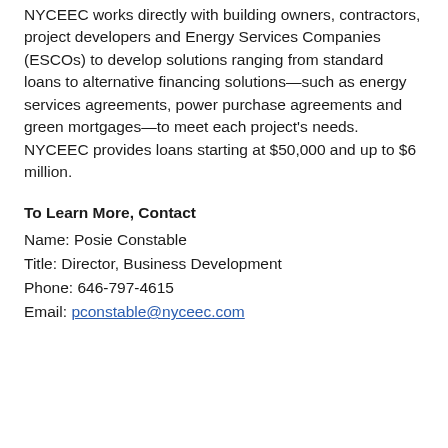NYCEEC works directly with building owners, contractors, project developers and Energy Services Companies (ESCOs) to develop solutions ranging from standard loans to alternative financing solutions—such as energy services agreements, power purchase agreements and green mortgages—to meet each project's needs. NYCEEC provides loans starting at $50,000 and up to $6 million.
To Learn More, Contact
Name: Posie Constable
Title: Director, Business Development
Phone: 646-797-4615
Email: pconstable@nyceec.com